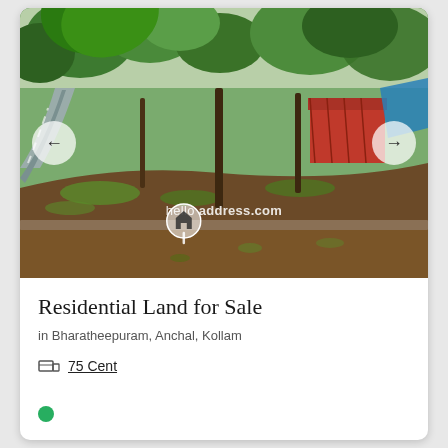[Figure (photo): Outdoor photo of a residential land plot with trees, sloped ground, a road on the left, and a red shed in the background. Watermark reads 'hello address.com' with a house-pin logo. Navigation arrows visible on left and right.]
Residential Land for Sale
in Bharatheepuram, Anchal, Kollam
75 Cent